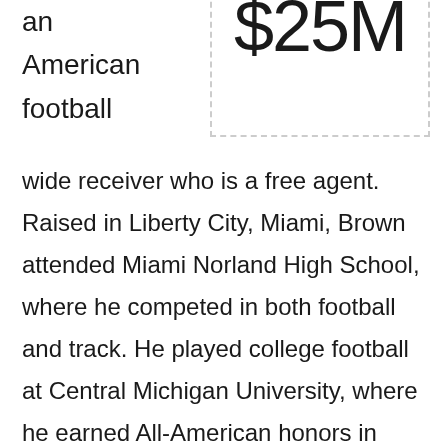[Figure (other): A dashed-border box displaying the text '$25M' in large light font]
an American football
wide receiver who is a free agent. Raised in Liberty City, Miami, Brown attended Miami Norland High School, where he competed in both football and track. He played college football at Central Michigan University, where he earned All-American honors in 2008 and 2009 as a punt returner.